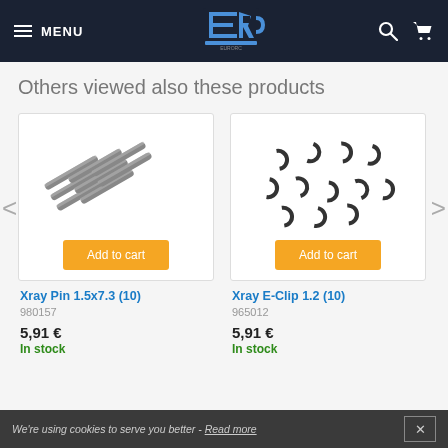MENU | EuroRC Logo | Search | Cart
Others viewed also these products
[Figure (photo): Xray Pin 1.5x7.3 (10) — metal cylindrical pins arranged diagonally]
[Figure (photo): Xray E-Clip 1.2 (10) — small C-shaped metal e-clips scattered]
Xray Pin 1.5x7.3 (10)
980157
5,91 €
In stock
Xray E-Clip 1.2 (10)
965012
5,91 €
In stock
We're using cookies to serve you better - Read more ✕